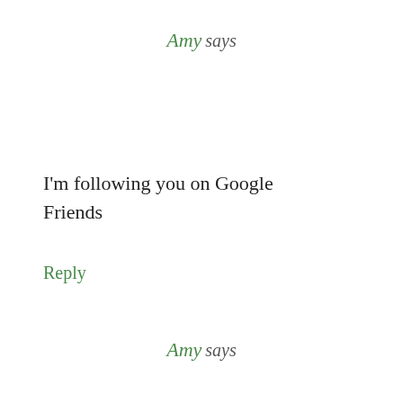Amy says
I'm following you on Google Friends
Reply
Amy says